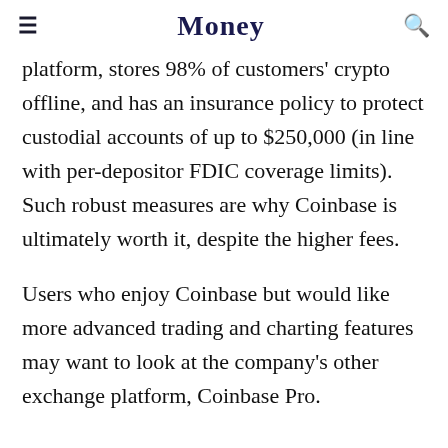Money
platform, stores 98% of customers' crypto offline, and has an insurance policy to protect custodial accounts of up to $250,000 (in line with per-depositor FDIC coverage limits). Such robust measures are why Coinbase is ultimately worth it, despite the higher fees.
Users who enjoy Coinbase but would like more advanced trading and charting features may want to look at the company's other exchange platform, Coinbase Pro.